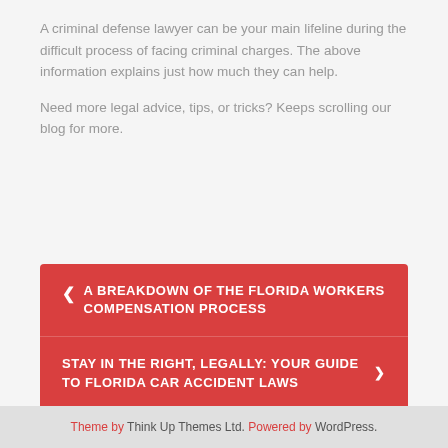A criminal defense lawyer can be your main lifeline during the difficult process of facing criminal charges. The above information explains just how much they can help.
Need more legal advice, tips, or tricks? Keeps scrolling our blog for more.
< A BREAKDOWN OF THE FLORIDA WORKERS COMPENSATION PROCESS
STAY IN THE RIGHT, LEGALLY: YOUR GUIDE TO FLORIDA CAR ACCIDENT LAWS >
Theme by Think Up Themes Ltd. Powered by WordPress.